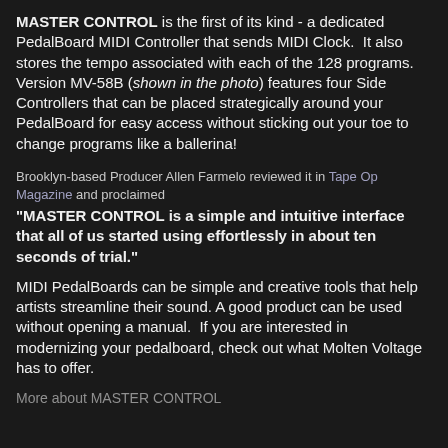MASTER CONTROL is the first of its kind - a dedicated PedalBoard MIDI Controller that sends MIDI Clock.  It also stores the tempo associated with each of the 128 programs. Version MV-58B (shown in the photo) features four Side Controllers that can be placed strategically around your PedalBoard for easy access without sticking out your toe to change programs like a ballerina!
Brooklyn-based Producer Allen Farmelo reviewed it in Tape Op Magazine and proclaimed
"MASTER CONTROL is a simple and intuitive interface that all of us started using effortlessly in about ten seconds of trial."
MIDI PedalBoards can be simple and creative tools that help artists streamline their sound. A good product can be used without opening a manual.  If you are interested in modernizing your pedalboard, check out what Molten Voltage has to offer.
More about MASTER CONTROL